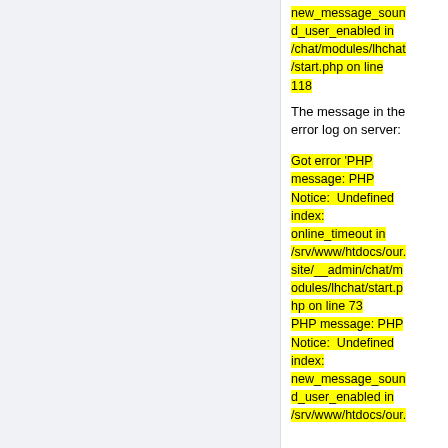new_message_sound_user_enabled in /chat/modules/lhchat/start.php on line 118
The message in the error log on server:
Got error 'PHP message: PHP Notice:  Undefined index: online_timeout in /srv/www/htdocs/our.site/__admin/chat/modules/lhchat/start.php on line 73 PHP message: PHP Notice:  Undefined index: new_message_sound_user_enabled in /srv/www/htdocs/our.